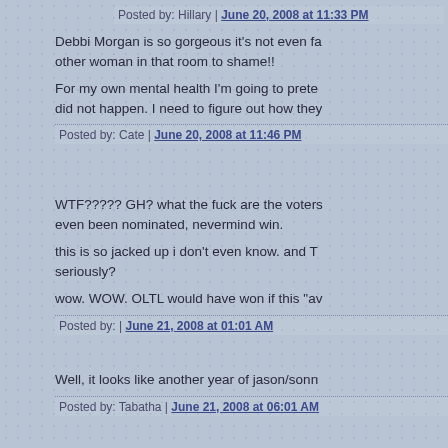Posted by: Hillary | June 20, 2008 at 11:33 PM
Debbi Morgan is so gorgeous it's not even fa... other woman in that room to shame!!
For my own mental health I'm going to prete... did not happen. I need to figure out how they...
Posted by: Cate | June 20, 2008 at 11:46 PM
WTF????? GH? what the fuck are the voters... even been nominated, nevermind win.
this is so jacked up i don't even know. and T... seriously?
wow. WOW. OLTL would have won if this "av...
Posted by: | June 21, 2008 at 01:01 AM
Well, it looks like another year of jason/sonn...
Posted by: Tabatha | June 21, 2008 at 06:01 AM